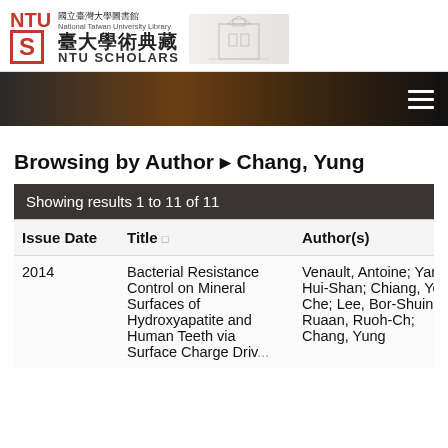[Figure (logo): NTU Scholars logo with NTU S emblem, Chinese text 國立臺灣大學圖書館, 臺大學術典藏, NTU SCHOLARS]
[Figure (photo): Brown/dark gradient banner with hamburger menu icon on right]
Browsing by Author → Chang, Yung
| Issue Date | Title | Author(s) |
| --- | --- | --- |
| 2014 | Bacterial Resistance Control on Mineral Surfaces of Hydroxyapatite and Human Teeth via Surface Charge Driven... | Venault, Antoine; Yang, Hui-Shan; Chiang, Yen-Che; Lee, Bor-Shuinn; Ruaan, Ruoh-Ch; Chang, Yung |